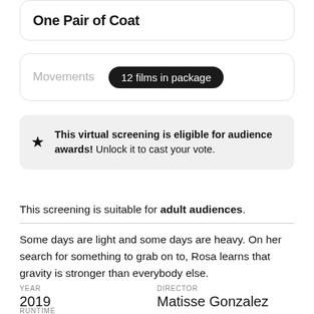One Pair of Coat
Movements  12 films in package
This virtual screening is eligible for audience awards! Unlock it to cast your vote.
This screening is suitable for adult audiences.
Some days are light and some days are heavy. On her search for something to grab on to, Rosa learns that gravity is stronger than everybody else.
YEAR
2019
DIRECTOR
Matisse Gonzalez
RUNTIME